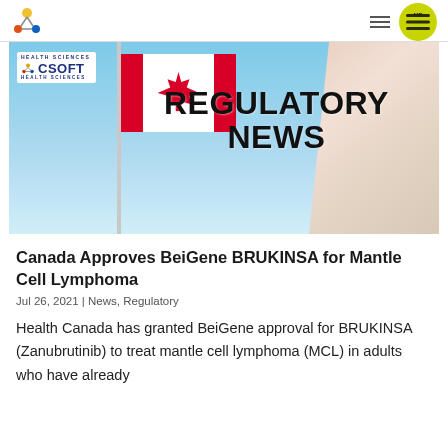[Figure (logo): CSOFT Health Sciences logo (molecule icon with yellow/orange/blue atoms)]
[Figure (illustration): Regulatory News banner image showing Canadian flag with maple leaf and a doctor in white coat, with bold text REGULATORY NEWS overlaid]
Canada Approves BeiGene BRUKINSA for Mantle Cell Lymphoma
Jul 26, 2021 | News, Regulatory
Health Canada has granted BeiGene approval for BRUKINSA (Zanubrutinib) to treat mantle cell lymphoma (MCL) in adults who have already